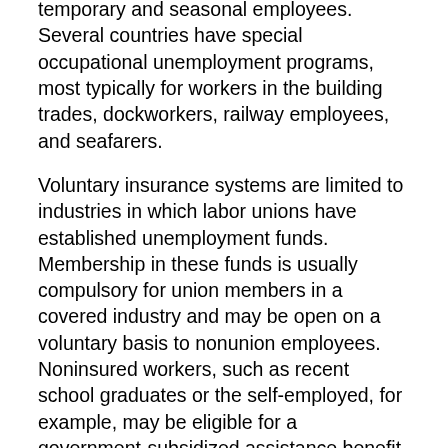temporary and seasonal employees. Several countries have special occupational unemployment programs, most typically for workers in the building trades, dockworkers, railway employees, and seafarers.
Voluntary insurance systems are limited to industries in which labor unions have established unemployment funds. Membership in these funds is usually compulsory for union members in a covered industry and may be open on a voluntary basis to nonunion employees. Noninsured workers, such as recent school graduates or the self-employed, for example, may be eligible for a government-subsidized assistance benefit when they become unemployed.
Source of Funds. The methods used to finance unemployment insurance are usually based on the same contributory principles as for other branches of social insurance—contributions amounting to a fixed percentage of covered wages are paid on a scheduled basis. In many cases, the government also grants a subsidy, particularly for extended benefits.
Unemployment insurance contributions are shared equally